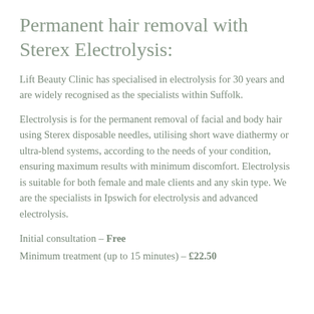Permanent hair removal with Sterex Electrolysis:
Lift Beauty Clinic has specialised in electrolysis for 30 years and are widely recognised as the specialists within Suffolk.
Electrolysis is for the permanent removal of facial and body hair using Sterex disposable needles, utilising short wave diathermy or ultra-blend systems, according to the needs of your condition, ensuring maximum results with minimum discomfort. Electrolysis is suitable for both female and male clients and any skin type. We are the specialists in Ipswich for electrolysis and advanced electrolysis.
Initial consultation – Free
Minimum treatment (up to 15 minutes) – £22.50